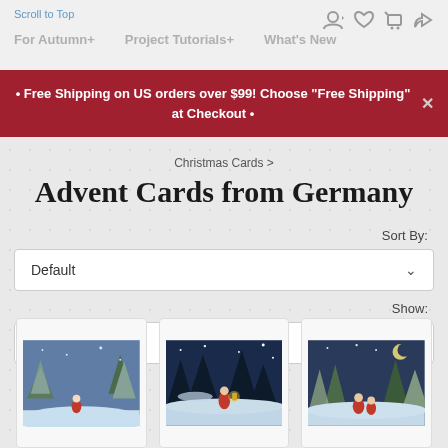Scroll to Top | For Autumn+ | Project Tutorials+ | What's New
• Free Shipping on US orders over $99! Choose "Free Shipping" at Checkout •
Christmas Cards >
Advent Cards from Germany
Sort By:
Default
Show:
75
[Figure (photo): Three Christmas card product thumbnails showing winter night scenes with figures in snow]
[Figure (photo): Second Christmas card thumbnail showing a figure with lantern in snowy forest]
[Figure (photo): Third Christmas card thumbnail showing gnome/elf figures in snowy landscape with crescent moon]